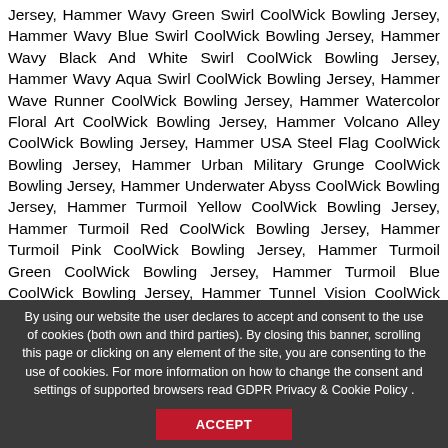Jersey, Hammer Wavy Green Swirl CoolWick Bowling Jersey, Hammer Wavy Blue Swirl CoolWick Bowling Jersey, Hammer Wavy Black And White Swirl CoolWick Bowling Jersey, Hammer Wavy Aqua Swirl CoolWick Bowling Jersey, Hammer Wave Runner CoolWick Bowling Jersey, Hammer Watercolor Floral Art CoolWick Bowling Jersey, Hammer Volcano Alley CoolWick Bowling Jersey, Hammer USA Steel Flag CoolWick Bowling Jersey, Hammer Urban Military Grunge CoolWick Bowling Jersey, Hammer Underwater Abyss CoolWick Bowling Jersey, Hammer Turmoil Yellow CoolWick Bowling Jersey, Hammer Turmoil Red CoolWick Bowling Jersey, Hammer Turmoil Pink CoolWick Bowling Jersey, Hammer Turmoil Green CoolWick Bowling Jersey, Hammer Turmoil Blue CoolWick Bowling Jersey, Hammer Tunnel Vision CoolWick Bowling Jersey, Hammer Tropical Hawaiian CoolWick Bowling Jersey, Hammer Tropical Camel CoolWick Bowling Jersey, Hammer Trick O Treat CoolWick Bowling Jersey, New Storm Hy-Road Max & Incite Bowling
By using our website the user declares to accept and consent to the use of cookies (both own and third parties). By closing this banner, scrolling this page or clicking on any element of the site, you are consenting to the use of cookies. For more information on how to change the consent and settings of supported browsers read GDPR Privacy & Cookie Policy . ACCEPT